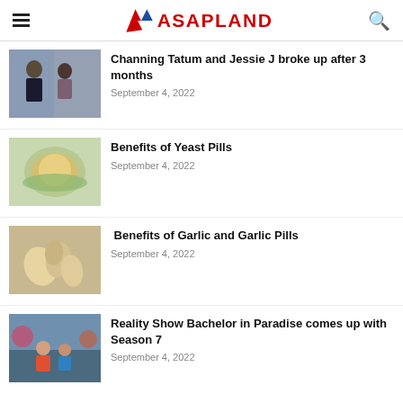ASAPLAND
[Figure (photo): Photo of Channing Tatum and Jessie J at an event, couple in formal wear]
Channing Tatum and Jessie J broke up after 3 months
September 4, 2022
[Figure (photo): Photo of a bowl of yeast powder/nutritional yeast]
Benefits of Yeast Pills
September 4, 2022
[Figure (photo): Close-up photo of garlic cloves]
Benefits of Garlic and Garlic Pills
September 4, 2022
[Figure (photo): Photo from Reality Show Bachelor in Paradise, season 7 scene]
Reality Show Bachelor in Paradise comes up with Season 7
September 4, 2022